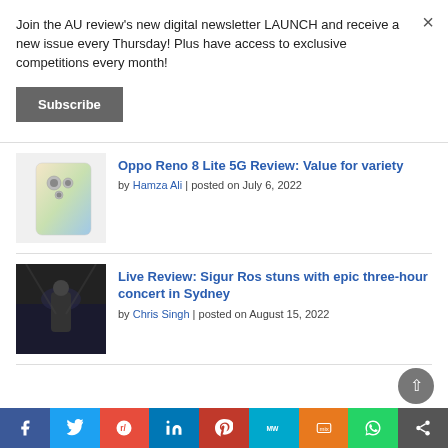Join the AU review's new digital newsletter LAUNCH and receive a new issue every Thursday! Plus have access to exclusive competitions every month!
Subscribe
[Figure (screenshot): Thumbnail image of Oppo Reno 8 Lite 5G phone]
Oppo Reno 8 Lite 5G Review: Value for variety
by Hamza Ali | posted on July 6, 2022
[Figure (photo): Thumbnail image for Sigur Ros live review concert article]
Live Review: Sigur Ros stuns with epic three-hour concert in Sydney
by Chris Singh | posted on August 15, 2022